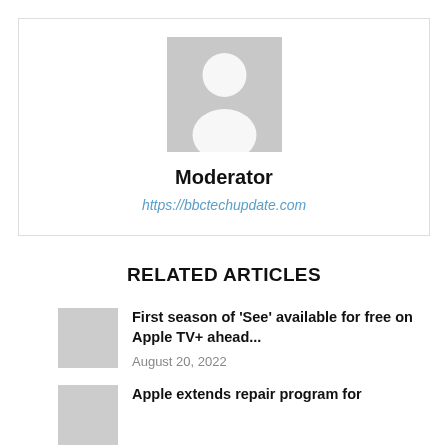[Figure (photo): Grey placeholder avatar image of a person silhouette]
Moderator
https://bbctechupdate.com
RELATED ARTICLES
First season of 'See' available for free on Apple TV+ ahead...
August 20, 2022
Apple extends repair program for